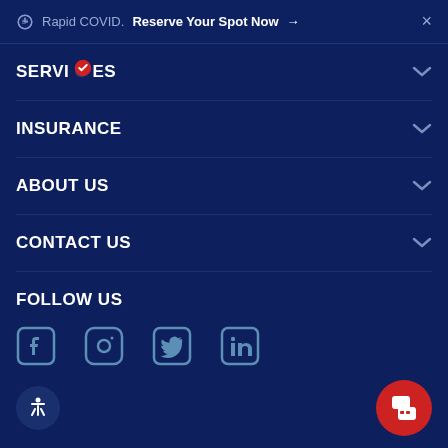Rapid COVID. Reserve Your Spot Now →  ×
SERVICES
INSURANCE
ABOUT US
CONTACT US
FOLLOW US
[Figure (infographic): Social media icons: Facebook, Instagram, Twitter, LinkedIn in blue outline style]
[Figure (infographic): Accessibility icon (person with arms outstretched) and red chat bubble button at bottom corners]